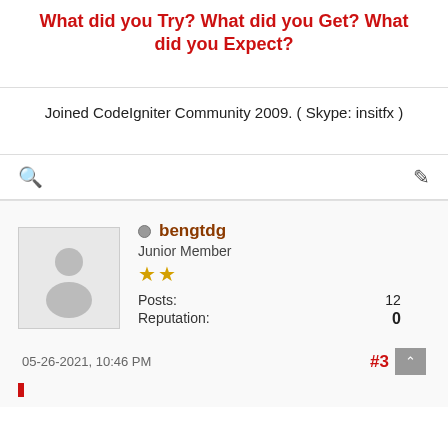What did you Try? What did you Get? What did you Expect?
Joined CodeIgniter Community 2009.  ( Skype: insitfx )
🔍   ✏
bengtdg
Junior Member
★★
Posts: 12
Reputation: 0
05-26-2021, 10:46 PM
#3